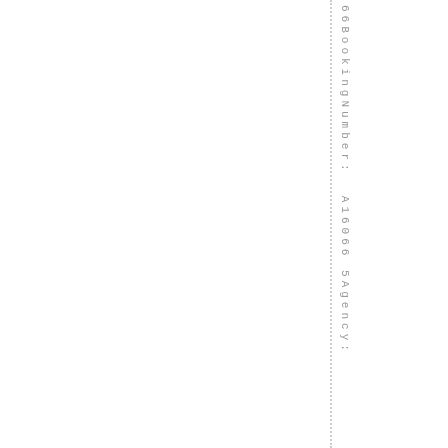66BookingNumber:  A16066 5Agency: